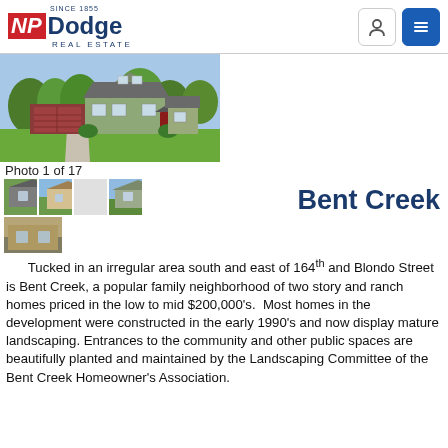NP Dodge Real Estate — Since 1855
[Figure (photo): Main exterior photo of a two-story craftsman home with green siding, red brick garage, and lush lawn. Photo 1 of 17.]
Photo 1 of 17
[Figure (photo): Thumbnail strip of neighborhood homes — four small preview photos]
Bent Creek
Tucked in an irregular area south and east of 164th and Blondo Street is Bent Creek, a popular family neighborhood of two story and ranch homes priced in the low to mid $200,000's.  Most homes in the development were constructed in the early 1990's and now display mature landscaping.  Entrances to the community and other public spaces are beautifully planted and maintained by the Landscaping Committee of the Bent Creek Homeowner's Association.